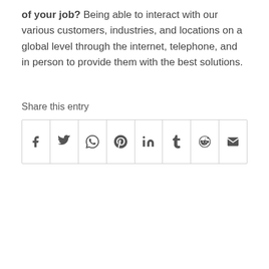of your job? Being able to interact with our various customers, industries, and locations on a global level through the internet, telephone, and in person to provide them with the best solutions.
Share this entry
[Figure (other): Row of 8 social sharing icon buttons: Facebook (f), Twitter (bird), WhatsApp, Pinterest (P), LinkedIn (in), Tumblr (t), Reddit (alien), Email (envelope)]